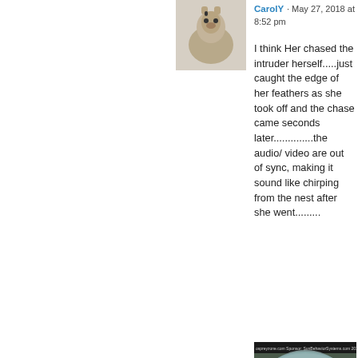[Figure (photo): Avatar photo of a dog (pug-like) standing in snow]
CarolY · May 27, 2018 at 8:52 pm
I think Her chased the intruder herself.....just caught the edge of her feathers as she took off and the chase came seconds later..............the audio/ video are out of sync, making it sound like chirping from the nest after she went.........
[Figure (photo): Webcam screenshot of an osprey nest with eggs, foggy/misty conditions, fisheye lens view]
[Figure (photo): Avatar photo of a bird (osprey) being held]
June c   May 27, 2018 at 10:02 pm - Reply
CarolY you know you could be right that she